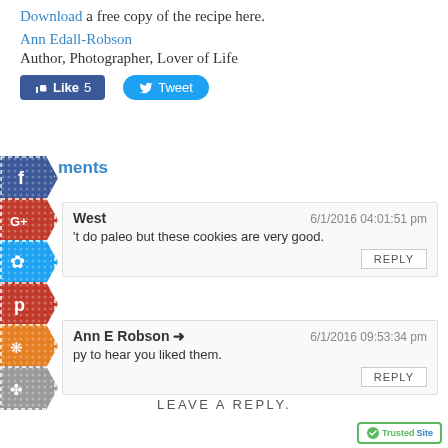Download a free copy of the recipe here.
Ann Edall-Robson
Author, Photographer, Lover of Life
[Figure (screenshot): Facebook Like button showing 5 likes and Twitter Tweet button]
[Figure (infographic): Social sharing banner icons (Facebook, Google+, Twitter/Butterfly, Pinterest, RSS/Share, grey icon) stacked vertically on left side]
Comments
West   6/1/2016 04:01:51 pm
I don't do paleo but these cookies are very good.
REPLY
Ann E Robson →   6/1/2016 09:53:34 pm
Happy to hear you liked them.
REPLY
LEAVE A REPLY.
[Figure (logo): TrustedSite badge bottom right corner]